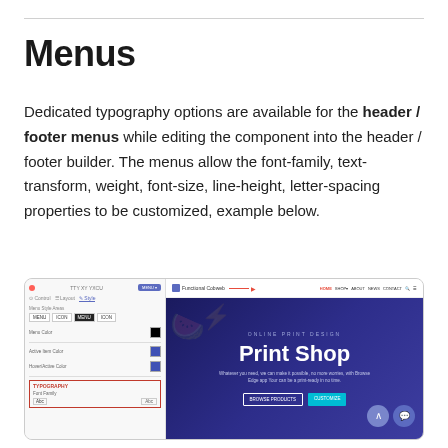Menus
Dedicated typography options are available for the header / footer menus while editing the component into the header / footer builder. The menus allow the font-family, text-transform, weight, font-size, line-height, letter-spacing properties to be customized, example below.
[Figure (screenshot): Screenshot of a website builder interface showing a left sidebar panel with menu style options, font color swatches, and typography settings including a red-bordered TYPOGRAPHY section with font family selector. The right side shows a website preview with a dark blue/purple hero section displaying 'Print Shop' heading with two floating action buttons and navigation bar at top reading 'Functional Cobweb' with HOME, SHOP, ABOUT, NEWS, CONTACT links.]